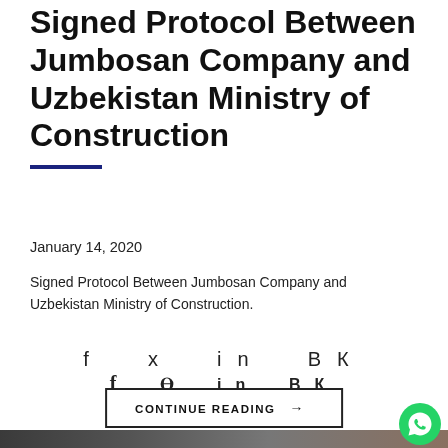Signed Protocol Between Jumbosan Company and Uzbekistan Ministry of Construction
January 14, 2020
Signed Protocol Between Jumbosan Company and Uzbekistan Ministry of Construction.
[Figure (infographic): Social media share icons: Facebook (f), Twitter (bird), LinkedIn (in), VKontakte (VK)]
CONTINUE READING →
[Figure (photo): Dark rock/stone texture photograph at bottom of page]